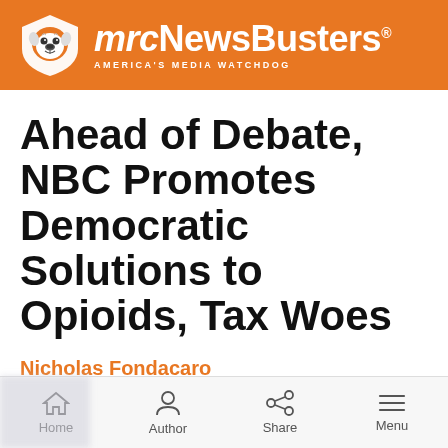mrcNewsBusters — AMERICA'S MEDIA WATCHDOG
Ahead of Debate, NBC Promotes Democratic Solutions to Opioids, Tax Woes
Nicholas Fondacaro
November 19th, 2019 11:07 PM
Home  Author  Share  Menu